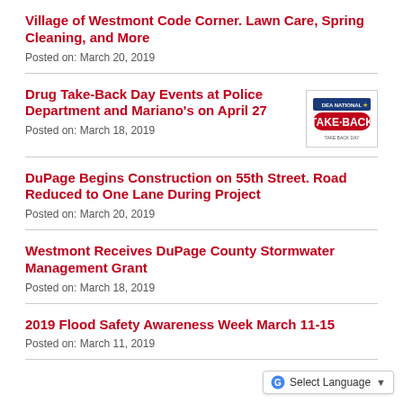Village of Westmont Code Corner. Lawn Care, Spring Cleaning, and More
Posted on: March 20, 2019
Drug Take-Back Day Events at Police Department and Mariano’s on April 27
[Figure (logo): DEA National Take-Back logo with red and blue colors]
Posted on: March 18, 2019
DuPage Begins Construction on 55th Street. Road Reduced to One Lane During Project
Posted on: March 20, 2019
Westmont Receives DuPage County Stormwater Management Grant
Posted on: March 18, 2019
2019 Flood Safety Awareness Week March 11-15
Posted on: March 11, 2019